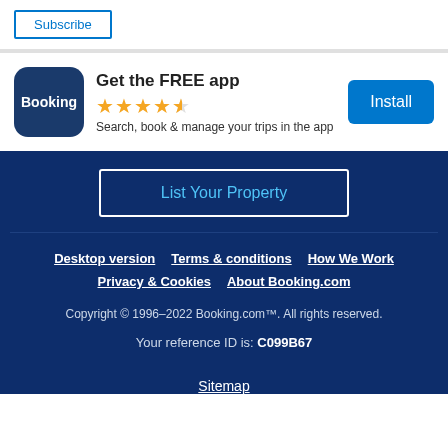Subscribe
[Figure (logo): Booking.com app banner with Booking logo icon, star rating, and Install button]
Get the FREE app
Search, book & manage your trips in the app
List Your Property
Desktop version   Terms & conditions   How We Work   Privacy & Cookies   About Booking.com
Copyright © 1996–2022 Booking.com™. All rights reserved.
Your reference ID is: C099B67
Sitemap